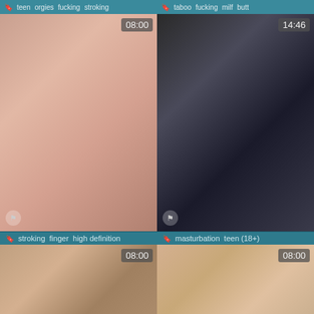teen  orgies  fucking  stroking
taboo  fucking  milf  butt
[Figure (photo): Video thumbnail 08:00 with flag icon]
[Figure (photo): Video thumbnail 14:46 with flag icon]
stroking  finger  high definition
masturbation  teen (18+)
[Figure (photo): Video thumbnail 08:00 with flag icon]
[Figure (photo): Video thumbnail 08:00 with flag icon]
fucking  jerking  milf  caught
penis  game  cock
Best Categories Alphabetically
3some   69   Accident   Adorable   Adultery
African   Amateur   Amazing   American   Anal